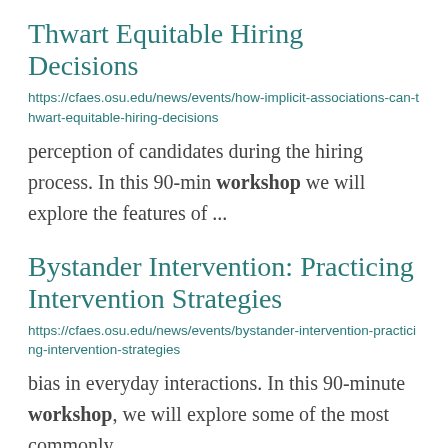Thwart Equitable Hiring Decisions
https://cfaes.osu.edu/news/events/how-implicit-associations-can-thwart-equitable-hiring-decisions
perception of candidates during the hiring process. In this 90-min workshop we will explore the features of ...
Bystander Intervention: Practicing Intervention Strategies
https://cfaes.osu.edu/news/events/bystander-intervention-practicing-intervention-strategies
bias in everyday interactions. In this 90-minute workshop, we will explore some of the most commonly ...